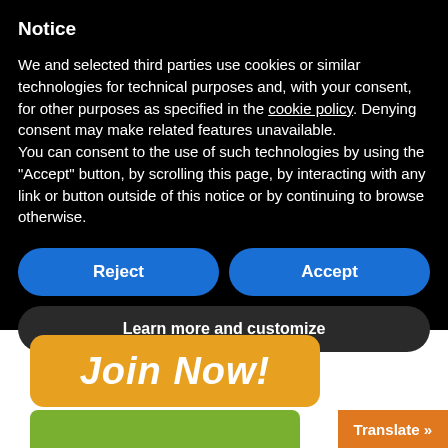Notice
We and selected third parties use cookies or similar technologies for technical purposes and, with your consent, for other purposes as specified in the cookie policy. Denying consent may make related features unavailable.
You can consent to the use of such technologies by using the “Accept” button, by scrolling this page, by interacting with any link or button outside of this notice or by continuing to browse otherwise.
Reject
Accept
Learn more and customize
[Figure (other): Orange rounded rectangle button with white italic bold text 'Join Now!']
[Figure (other): Green bar and orange 'Translate »' button at bottom right]